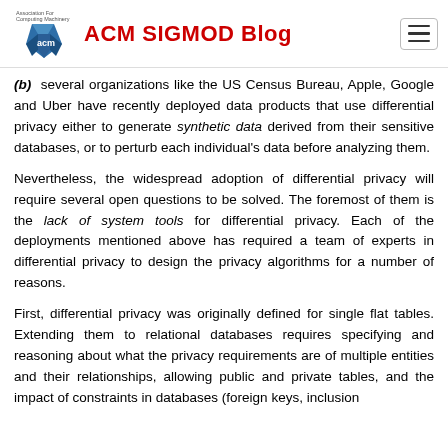ACM SIGMOD Blog
(b) several organizations like the US Census Bureau, Apple, Google and Uber have recently deployed data products that use differential privacy either to generate synthetic data derived from their sensitive databases, or to perturb each individual's data before analyzing them.
Nevertheless, the widespread adoption of differential privacy will require several open questions to be solved. The foremost of them is the lack of system tools for differential privacy. Each of the deployments mentioned above has required a team of experts in differential privacy to design the privacy algorithms for a number of reasons.
First, differential privacy was originally defined for single flat tables. Extending them to relational databases requires specifying and reasoning about what the privacy requirements are of multiple entities and their relationships, allowing public and private tables, and the impact of constraints in databases (foreign keys, inclusion